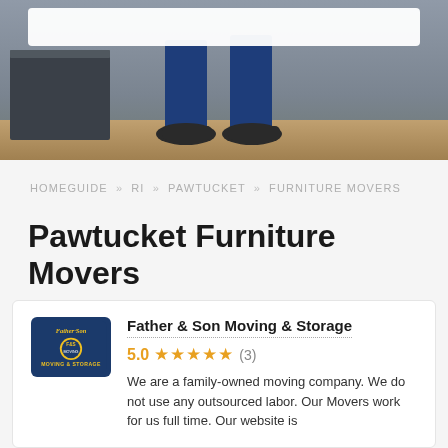[Figure (photo): Hero image showing legs and shoes of a mover in blue jeans standing near a dark appliance on a wood floor, with a white search bar overlay at top]
HOMEGUIDE » RI » PAWTUCKET » FURNITURE MOVERS
Pawtucket Furniture Movers
[Figure (logo): Father & Son Moving & Storage circular logo with blue background and yellow text]
Father & Son Moving & Storage
5.0 ★★★★★ (3)
We are a family-owned moving company. We do not use any outsourced labor. Our Movers work for us full time. Our website is